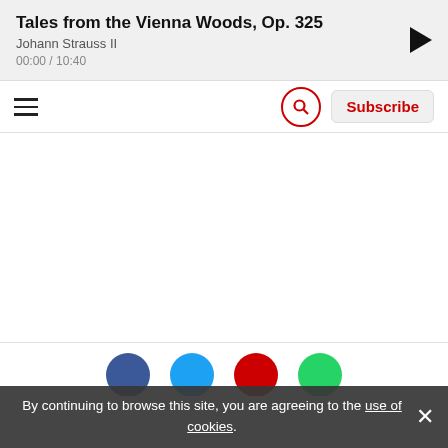Tales from the Vienna Woods, Op. 325
Johann Strauss II
00:00 / 10:40
[Figure (screenshot): Navigation bar with hamburger menu icon on left, search icon (red circle with magnifying glass) and Subscribe button on right]
[Figure (screenshot): Social media share buttons: Facebook (blue), Twitter (light blue), YouTube (red), WhatsApp (green) circles partially visible at bottom]
By continuing to browse this site, you are agreeing to the use of cookies.